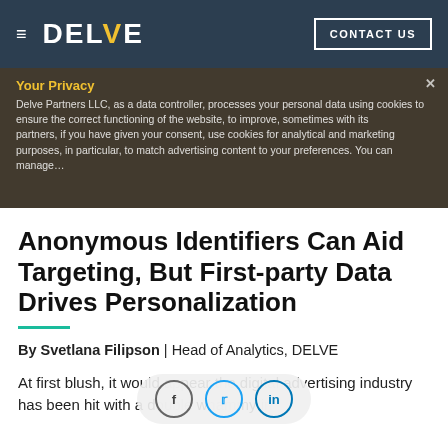[Figure (logo): DELVE website header with hamburger menu icon, DELVE logo in white with yellow V, and CONTACT US button on dark blue-grey background]
Your Privacy
Delve Partners LLC, as a data controller, processes your personal data using cookies to ensure the correct functioning of the website, to improve, sometimes with its partners, if you have given your consent, use cookies for analytical and marketing purposes, in particular, to match advertising content to your preferences. You can manage...
Anonymous Identifiers Can Aid Targeting, But First-party Data Drives Personalization
By Svetlana Filipson | Head of Analytics, DELVE
At first blush, it would appear the digital advertising industry has been hit with a double whammy in